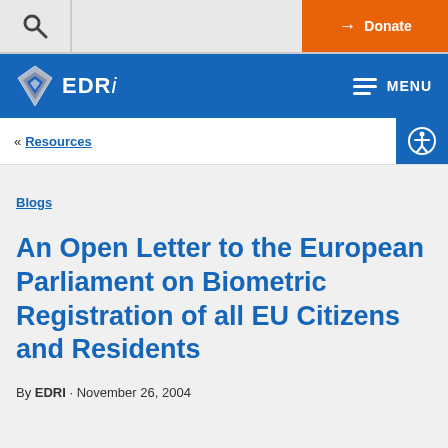[Figure (logo): EDRi website header with search icon, donate button, EDRi logo with diamond icon, and navigation menu]
« Resources
Blogs
An Open Letter to the European Parliament on Biometric Registration of all EU Citizens and Residents
By EDRI · November 26, 2004